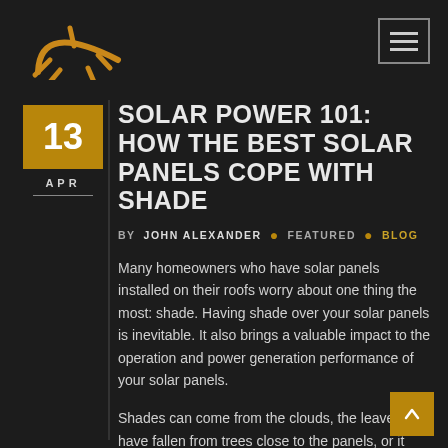[Figure (logo): Partial sun/star logo in orange/gold color at top left corner]
[Figure (other): Hamburger menu button (three horizontal lines) in a dark bordered square, top right corner]
SOLAR POWER 101: HOW THE BEST SOLAR PANELS COPE WITH SHADE
BY JOHN ALEXANDER • FEATURED • BLOG
Many homeowners who have solar panels installed on their roofs worry about one thing the most: shade. Having shade over your solar panels is inevitable. It also brings a valuable impact to the operation and power generation performance of your solar panels.
Shades can come from the clouds, the leaves that have fallen from trees close to the panels, or it could be due to a structure that overshadows